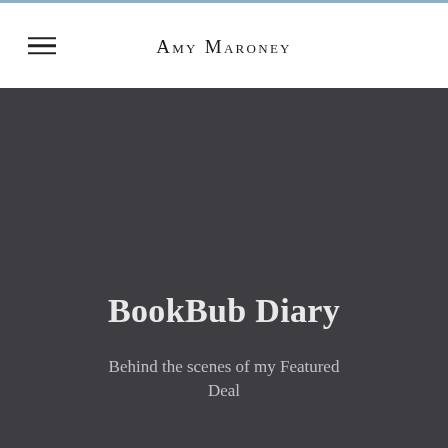Amy Maroney
BookBub Diary
Behind the scenes of my Featured Deal